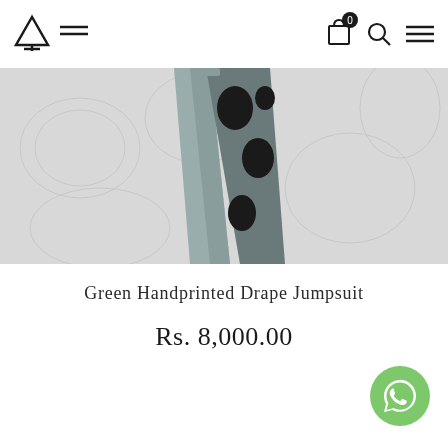Navigation header with logo, hamburger menu, cart (0), search, and menu icons
[Figure (photo): Gray and black handprinted drape jumpsuit fabric hanging against a white textured embossed background]
Green Handprinted Drape Jumpsuit
Rs. 8,000.00
[Figure (other): WhatsApp chat button (green circle with white WhatsApp logo) in bottom right corner]